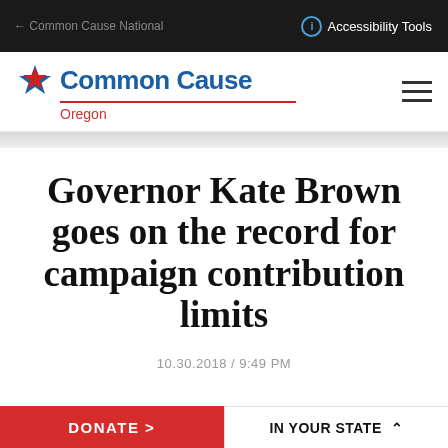Accessibility Tools
[Figure (logo): Common Cause Oregon logo with star icon]
Governor Kate Brown goes on the record for campaign contribution limits
10.30.2018 / 9:49 PM
DONATE > | IN YOUR STATE ^